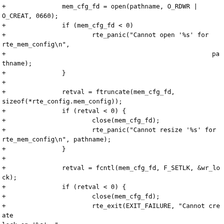+			mem_cfg_fd = open(pathname, O_RDWR | O_CREAT, 0660);
+			if (mem_cfg_fd < 0)
+				rte_panic("Cannot open '%s' for rte_mem_config\n",
+											pathname);
+		}
+
+		retval = ftruncate(mem_cfg_fd,
sizeof(*rte_config.mem_config));
+		if (retval < 0) {
+				close(mem_cfg_fd);
+				rte_panic("Cannot resize '%s' for rte_mem_config\n", pathname);
+		}
+
+		retval = fcntl(mem_cfg_fd, F_SETLK, &wr_lock);
+		if (retval < 0) {
+				close(mem_cfg_fd);
+				rte_exit(EXIT_FAILURE, "Cannot create lock on '%s'. "
+								"Is another primary process running?\n", pathname);
+		}
+
+		rte_mem_cfg_addr = mmap(rte_mem_cfg_addr,
+					sizeof(*rte_config.mem_config), PROT_READ | PROT_WRITE,
+								MAP_SHARED, mem_cfg_fd, 0);
+